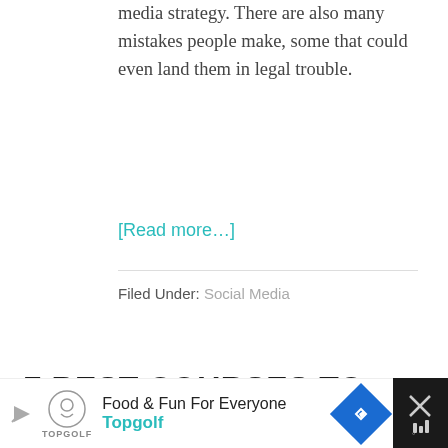media strategy. There are also many mistakes people make, some that could even land them in legal trouble.
[Read more…]
Filed Under: Social Media
7 BEST COURSES TO HELP YOU SUCCEED ON SOCIAL MEDIA
[Figure (other): Advertisement banner for Topgolf: Food & Fun For Everyone]
[Figure (other): Close button (X) for advertisement]